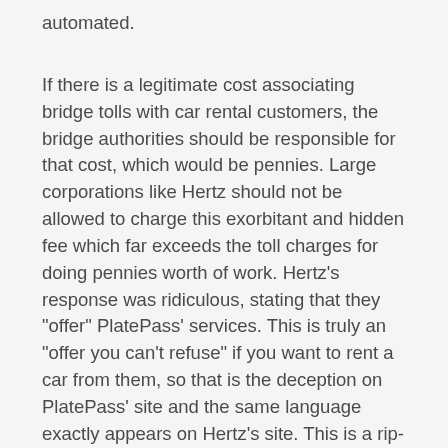automated.
If there is a legitimate cost associating bridge tolls with car rental customers, the bridge authorities should be responsible for that cost, which would be pennies. Large corporations like Hertz should not be allowed to charge this exorbitant and hidden fee which far exceeds the toll charges for doing pennies worth of work. Hertz's response was ridiculous, stating that they "offer" PlatePass' services. This is truly an "offer you can't refuse" if you want to rent a car from them, so that is the deception on PlatePass' site and the same language exactly appears on Hertz's site. This is a rip-off pure and simple, and affects millions of